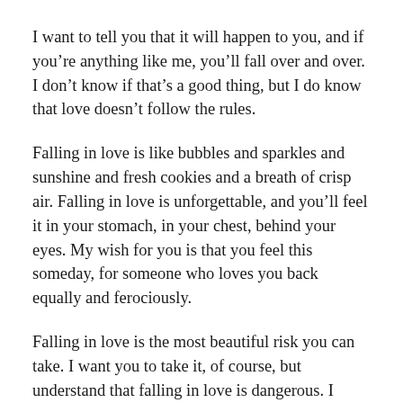I want to tell you that it will happen to you, and if you’re anything like me, you’ll fall over and over. I don’t know if that’s a good thing, but I do know that love doesn’t follow the rules.
Falling in love is like bubbles and sparkles and sunshine and fresh cookies and a breath of crisp air. Falling in love is unforgettable, and you’ll feel it in your stomach, in your chest, behind your eyes. My wish for you is that you feel this someday, for someone who loves you back equally and ferociously.
Falling in love is the most beautiful risk you can take. I want you to take it, of course, but understand that falling in love is dangerous. I don’t want to tell you to be careful, because I already know what an overprotective mother I will be. You’ll hear it too